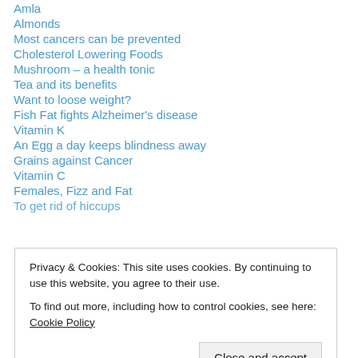Amla
Almonds
Most cancers can be prevented
Cholesterol Lowering Foods
Mushroom – a health tonic
Tea and its benefits
Want to loose weight?
Fish Fat fights Alzheimer's disease
Vitamin K
An Egg a day keeps blindness away
Grains against Cancer
Vitamin C
Females, Fizz and Fat
To get rid of hiccups
Privacy & Cookies: This site uses cookies. By continuing to use this website, you agree to their use. To find out more, including how to control cookies, see here: Cookie Policy
Handling Everyday Tasks